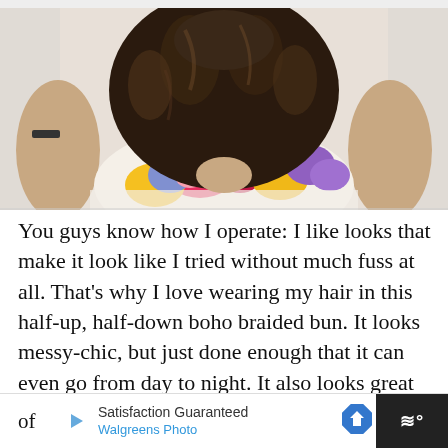[Figure (photo): Back view of a woman with curly dark brown hair worn up, wearing a colorful floral top with pink, red, yellow, and purple flowers on white background. Her hands are on her head/hips.]
You guys know how I operate: I like looks that make it look like I tried without much fuss at all. That's why I love wearing my hair in this half-up, half-down boho braided bun. It looks messy-chic, but just done enough that it can even go from day to night. It also looks great whether you've just curled your hair, or they've transformed into worn-in waves after a couple of
of  Satisfaction Guaranteed
Walgreens Photo